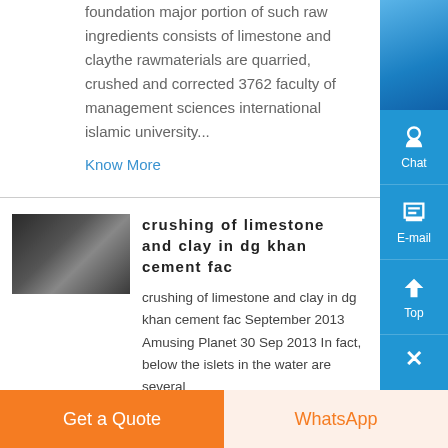foundation major portion of such raw ingredients consists of limestone and claythe rawmaterials are quarried, crushed and corrected 3762 faculty of management sciences international islamic university...
Know More
crushing of limestone and clay in dg khan cement fac
crushing of limestone and clay in dg khan cement fac September 2013 Amusing Planet 30 Sep 2013 In fact, below the islets in the water are several
[Figure (photo): Dark industrial image showing machinery or pipes, thumbnail for the article]
Get a Quote
WhatsApp